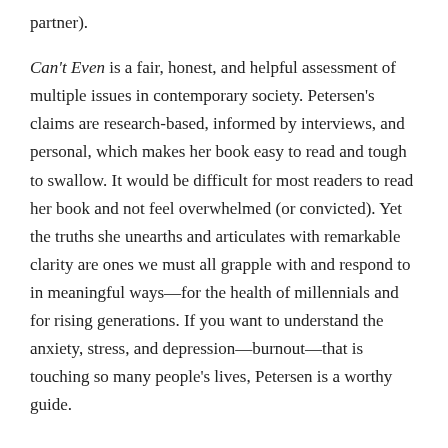partner).
Can't Even is a fair, honest, and helpful assessment of multiple issues in contemporary society. Petersen's claims are research-based, informed by interviews, and personal, which makes her book easy to read and tough to swallow. It would be difficult for most readers to read her book and not feel overwhelmed (or convicted). Yet the truths she unearths and articulates with remarkable clarity are ones we must all grapple with and respond to in meaningful ways—for the health of millennials and for rising generations. If you want to understand the anxiety, stress, and depression—burnout—that is touching so many people's lives, Petersen is a worthy guide.
Enjoy the article? Pay the writer.
$ 0